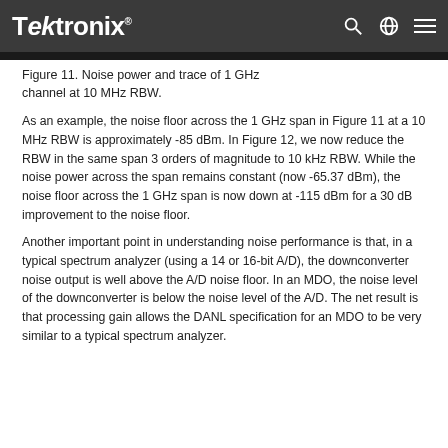Tektronix
Figure 11. Noise power and trace of 1 GHz channel at 10 MHz RBW.
As an example, the noise floor across the 1 GHz span in Figure 11 at a 10 MHz RBW is approximately -85 dBm. In Figure 12, we now reduce the RBW in the same span 3 orders of magnitude to 10 kHz RBW. While the noise power across the span remains constant (now -65.37 dBm), the noise floor across the 1 GHz span is now down at -115 dBm for a 30 dB improvement to the noise floor.
Another important point in understanding noise performance is that, in a typical spectrum analyzer (using a 14 or 16-bit A/D), the downconverter noise output is well above the A/D noise floor. In an MDO, the noise level of the downconverter is below the noise level of the A/D. The net result is that processing gain allows the DANL specification for an MDO to be very similar to a typical spectrum analyzer.